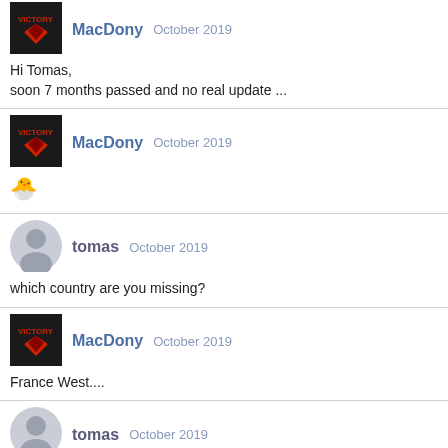[Figure (other): MacDony user avatar - game logo icon (dark background with red chevron)]
MacDony   October 2019
Hi Tomas,
soon 7 months passed and no real update ...
[Figure (other): MacDony user avatar - game logo icon (dark background with red chevron)]
MacDony   October 2019
🐣
[Figure (other): tomas user avatar placeholder - grey silhouette]
tomas   October 2019
which country are you missing?
[Figure (other): MacDony user avatar - game logo icon (dark background with red chevron)]
MacDony   October 2019
France West....
[Figure (other): tomas user avatar placeholder - grey silhouette]
tomas   October 2019
that has been released already